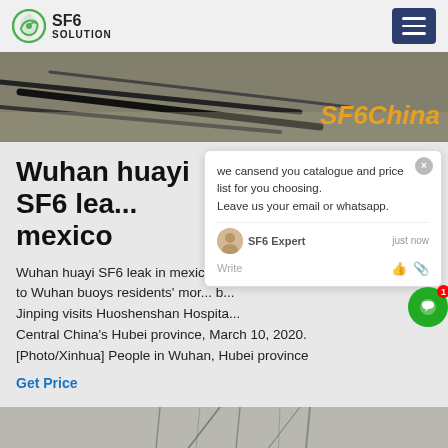SF6 SOLUTION
[Figure (photo): Hero banner image showing cables/wires on ground with overlay text 'SF6China']
Wuhan huayi SF6 leak in mexico
Wuhan huayi SF6 leak in mexico,Ma... si... to Wuhan buoys residents' mor... b... Jinping visits Huoshenshan Hospita... Central China's Hubei province, March 10, 2020. [Photo/Xinhua] People in Wuhan, Hubei province
Get Price